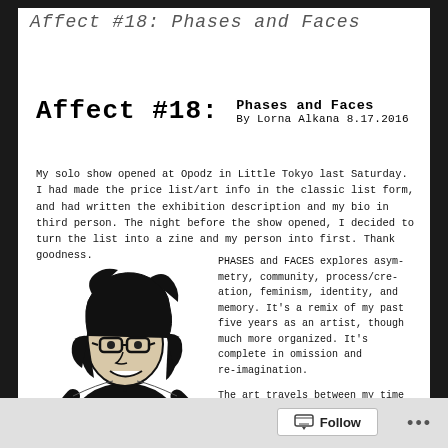Affect #18: Phases and Faces
Affect #18: Phases and Faces
By Lorna Alkana 8.17.2016
My solo show opened at Opodz in Little Tokyo last Saturday. I had made the price list/art info in the classic list form, and had written the exhibition description and my bio in third person. The night before the show opened, I decided to turn the list into a zine and my person into first. Thank goodness.
[Figure (illustration): Black and white line drawing of a woman with curly hair and glasses, wearing a black sleeveless top, looking upward and to the side with a slight smile. She has a necklace and bracelets visible.]
PHASES and FACES explores asymmetry, community, process/creation, feminism, identity, and memory. It's a remix of my past five years as an artist, though much more organized. It's complete in omission and re-imagination.

The art travels between my time with pencil and stylus, phone and paintbrush.

I like to play with perception, perspective, portraits, places, and